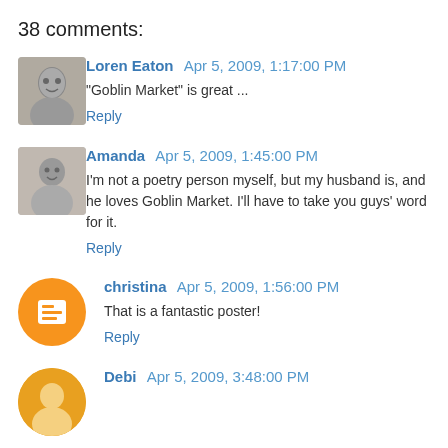38 comments:
Loren Eaton  Apr 5, 2009, 1:17:00 PM
"Goblin Market" is great ...
Reply
Amanda  Apr 5, 2009, 1:45:00 PM
I'm not a poetry person myself, but my husband is, and he loves Goblin Market. I'll have to take you guys' word for it.
Reply
christina  Apr 5, 2009, 1:56:00 PM
That is a fantastic poster!
Reply
Debi  Apr 5, 2009, 3:48:00 PM